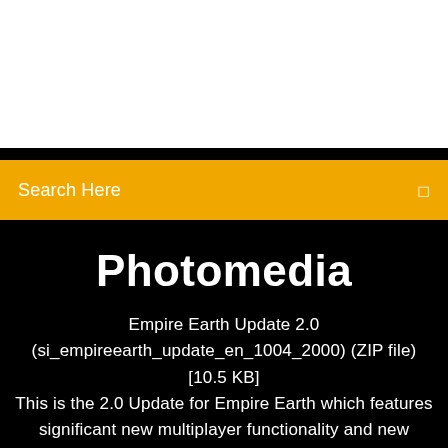[Figure (other): White blank area at top of page]
Search Here
Photomedia
Empire Earth Update 2.0 (si_empireearth_update_en_1004_2000) (ZIP file) [10.5 KB] This is the 2.0 Update for Empire Earth which features significant new multiplayer functionality and new options to increase or decrease the difficulty level in the epic single-player campaigns. The multiplayer improvements further